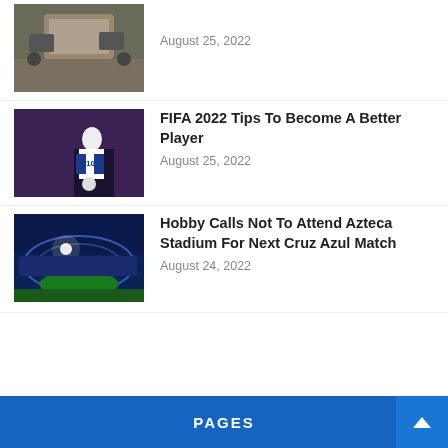[Figure (photo): Damaged military vehicle with soldiers, desert scene]
August 25, 2022
[Figure (photo): Soccer player wearing number 10 jersey controlling a ball, blue/purple background]
FIFA 2022 Tips To Become A Better Player
August 25, 2022
[Figure (photo): Night view of a large illuminated soccer stadium]
Hobby Calls Not To Attend Azteca Stadium For Next Cruz Azul Match
August 24, 2022
PAGES